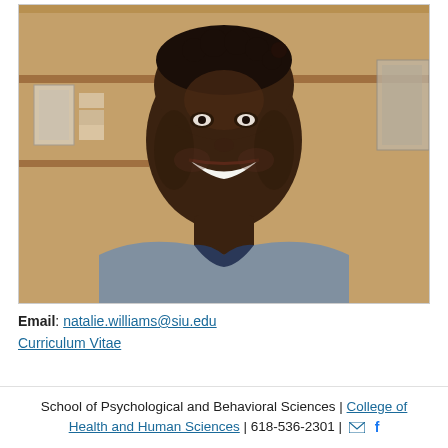[Figure (photo): Headshot photo of a smiling Black woman with short natural hair, wearing a gray blazer and patterned dark collared shirt, photographed in front of a bookshelf background.]
Email: natalie.williams@siu.edu
Curriculum Vitae
School of Psychological and Behavioral Sciences | College of Health and Human Sciences | 618-536-2301 | [envelope icon] f